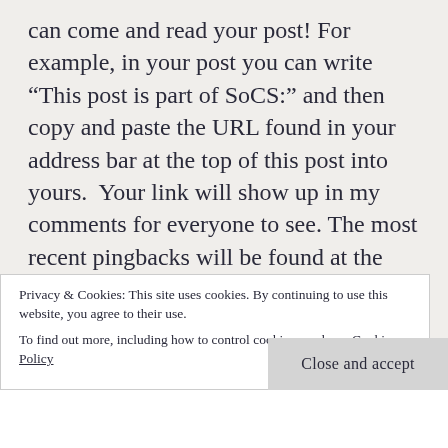can come and read your post! For example, in your post you can write “This post is part of SoCS:” and then copy and paste the URL found in your address bar at the top of this post into yours.  Your link will show up in my comments for everyone to see. The most recent pingbacks will be found at the top. NOTE: Pingbacks only work from WordPress sites. If you’re self-hosted or are participating from another host, such as Blogger, please leave a link to your post in the comments below.
5. Read at least one other person’s blog who has linked back their post. Even better, read all of them! If you’re
Privacy & Cookies: This site uses cookies. By continuing to use this website, you agree to their use.
To find out more, including how to control cookies, see here: Cookie Policy
Close and accept
6. Copy and paste the rules (if you’d like to) in your